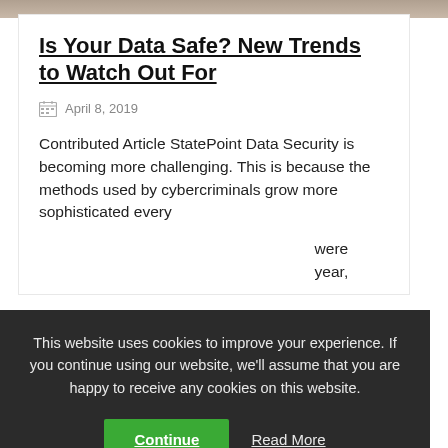[Figure (photo): Partial image strip at top of page, showing a cropped photograph]
Is Your Data Safe? New Trends to Watch Out For
April 8, 2019
Contributed Article StatePoint Data Security is becoming more challenging. This is because the methods used by cybercriminals grow more sophisticated every
were year,
This website uses cookies to improve your experience. If you continue using our website, we'll assume that you are happy to receive any cookies on this website.
Continue
Read More
TOP 8 TIPS FOR STAYING